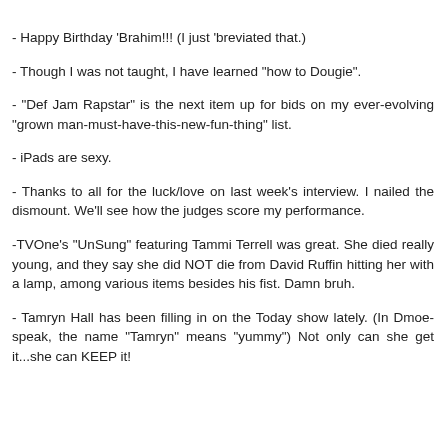- Happy Birthday 'Brahim!!! (I just 'breviated that.)
- Though I was not taught, I have learned "how to Dougie".
- "Def Jam Rapstar" is the next item up for bids on my ever-evolving "grown man-must-have-this-new-fun-thing" list.
- iPads are sexy.
- Thanks to all for the luck/love on last week's interview. I nailed the dismount. We'll see how the judges score my performance.
-TVOne's "UnSung" featuring Tammi Terrell was great. She died really young, and they say she did NOT die from David Ruffin hitting her with a lamp, among various items besides his fist. Damn bruh.
- Tamryn Hall has been filling in on the Today show lately. (In Dmoe-speak, the name "Tamryn" means "yummy") Not only can she get it...she can KEEP it!